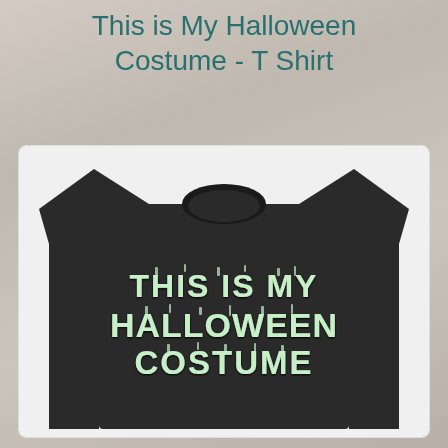This is My Halloween Costume - T Shirt
[Figure (photo): A black t-shirt with spooky dripping text reading 'THIS IS MY HALLOWEEN COSTUME' in light mint/glow-in-the-dark style lettering]